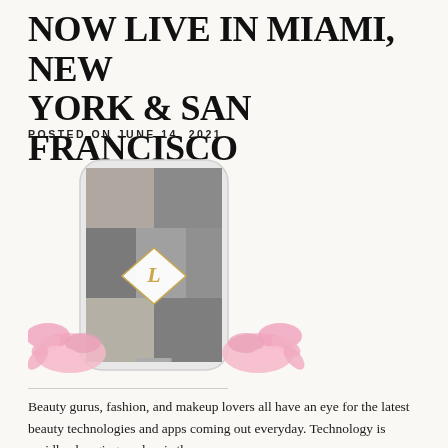NOW LIVE IN MIAMI, NEW YORK & SAN FRANCISCO
POSTED ON JUNE 14, 2021
[Figure (photo): A smartphone displaying a beauty app collage screen with gold monogram logo 'L' on a diamond shape, surrounded by pink flowers on a cream background.]
Beauty gurus, fashion, and makeup lovers all have an eye for the latest beauty technologies and apps coming out everyday. Technology is rapidly changing, and so is the